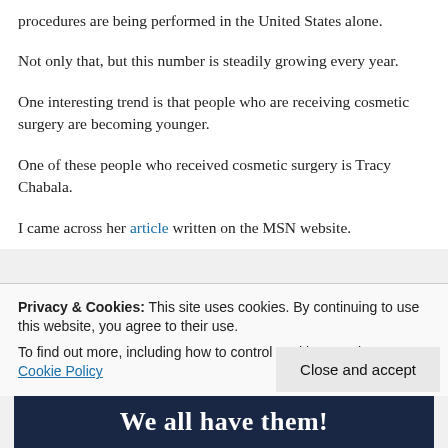procedures are being performed in the United States alone.
Not only that, but this number is steadily growing every year.
One interesting trend is that people who are receiving cosmetic surgery are becoming younger.
One of these people who received cosmetic surgery is Tracy Chabala.
I came across her article written on the MSN website.
Privacy & Cookies: This site uses cookies. By continuing to use this website, you agree to their use.
To find out more, including how to control cookies, see here: Cookie Policy
Close and accept
We all have them!